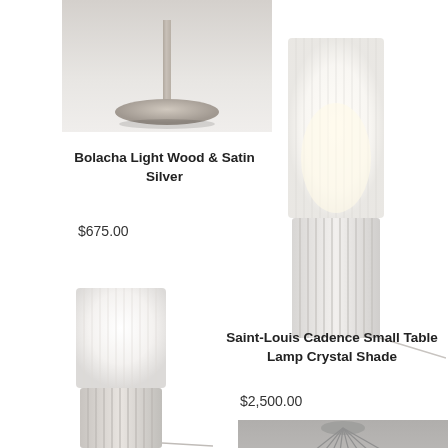[Figure (photo): Top portion of a Bolacha table lamp with circular disc base and thin stem, on white/grey background]
Bolacha Light Wood & Satin Silver
$675.00
[Figure (photo): Saint-Louis Cadence Small Table Lamp with crystal cylindrical shade, ribbed glass base, white background]
[Figure (photo): Saint-Louis Cadence Small Table Lamp (white shade version) with ribbed glass base, white background]
Saint-Louis Cadence Small Table Lamp Crystal Shade
$2,500.00
[Figure (photo): Pendant lamp with multiple thin arms radiating outward, each with small elongated light, photographed from below against grey ceiling]